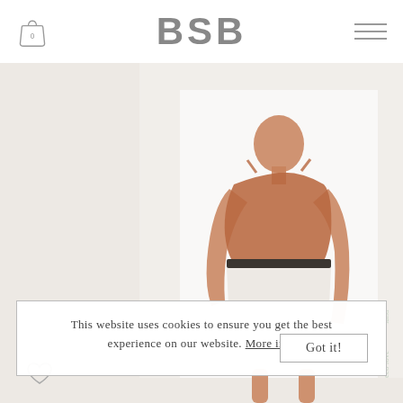BSB
[Figure (photo): Fashion model wearing a rust/terracotta spaghetti strap top and white wide-leg knee-length shorts with a dark belt, standing against a white background. A vertical 'eco·love' and 'land' watermark appears on the right edge of the photo.]
This website uses cookies to ensure you get the best experience on our website. More info  Got it!